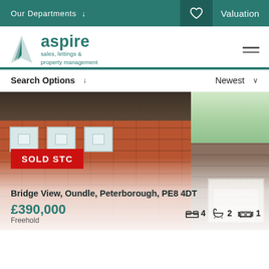Our Departments ↓   ♡   Valuation
[Figure (logo): Aspire sales, lettings & property management logo with teal triangle/building icon]
Search Options ↓   Newest ∨
[Figure (photo): Brick detached house exterior photo with SOLD STC red badge overlay]
Bridge View, Oundle, Peterborough, PE8 4DT
£390,000
Freehold
4 bedrooms, 2 bathrooms, 1 reception